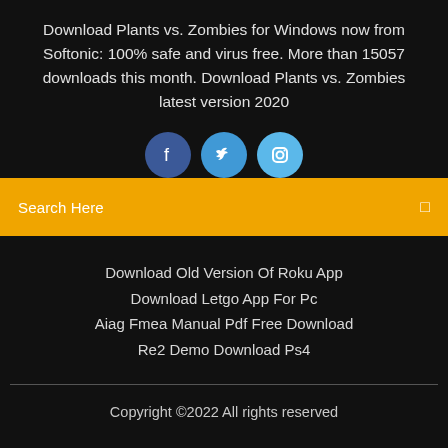Download Plants vs. Zombies for Windows now from Softonic: 100% safe and virus free. More than 15057 downloads this month. Download Plants vs. Zombies latest version 2020
[Figure (illustration): Three social media icon circles: Facebook (dark blue), Twitter (medium blue), Instagram (light blue)]
Search Here
Download Old Version Of Roku App
Download Letgo App For Pc
Aiag Fmea Manual Pdf Free Download
Re2 Demo Download Ps4
Copyright ©2022 All rights reserved